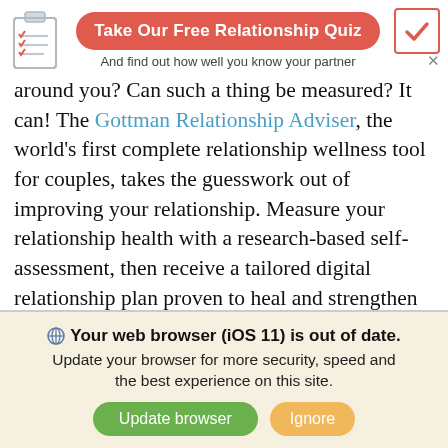[Figure (other): Clipboard icon with checklist]
Take Our Free Relationship Quiz
And find out how well you know your partner
around you? Can such a thing be measured? It can! The Gottman Relationship Adviser, the world's first complete relationship wellness tool for couples, takes the guesswork out of improving your relationship. Measure your relationship health with a research-based self-assessment, then receive a tailored digital relationship plan proven to heal and strengthen your connection.

For an in-depth analysis of your relationship health check out the Gottman Assessment, a virtual
Your web browser (iOS 11) is out of date. Update your browser for more security, speed and the best experience on this site.
Update browser   Ignore